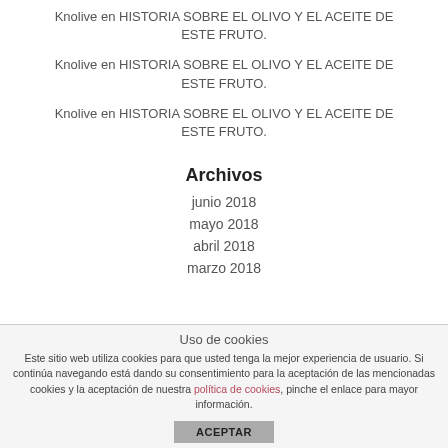Knolive en HISTORIA SOBRE EL OLIVO Y EL ACEITE DE ESTE FRUTO.
Knolive en HISTORIA SOBRE EL OLIVO Y EL ACEITE DE ESTE FRUTO.
Knolive en HISTORIA SOBRE EL OLIVO Y EL ACEITE DE ESTE FRUTO.
Archivos
junio 2018
mayo 2018
abril 2018
marzo 2018
Uso de cookies
Este sitio web utiliza cookies para que usted tenga la mejor experiencia de usuario. Si continúa navegando está dando su consentimiento para la aceptación de las mencionadas cookies y la aceptación de nuestra política de cookies, pinche el enlace para mayor información.
ACEPTAR